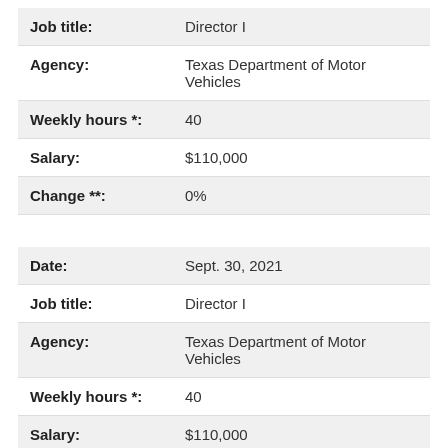| Field | Value |
| --- | --- |
| Job title: | Director I |
| Agency: | Texas Department of Motor Vehicles |
| Weekly hours *: | 40 |
| Salary: | $110,000 |
| Change **: | 0% |
| Field | Value |
| --- | --- |
| Date: | Sept. 30, 2021 |
| Job title: | Director I |
| Agency: | Texas Department of Motor Vehicles |
| Weekly hours *: | 40 |
| Salary: | $110,000 |